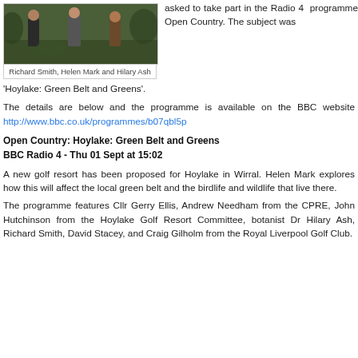[Figure (photo): Three people standing outdoors in a natural green belt setting. Richard Smith, Helen Mark and Hilary Ash.]
Richard Smith, Helen Mark and Hilary Ash
asked to take part in the Radio 4 programme Open Country. The subject was 'Hoylake: Green Belt and Greens'.
The details are below and the programme is available on the BBC website http://www.bbc.co.uk/programmes/b07qbl5p
Open Country: Hoylake: Green Belt and Greens
BBC Radio 4 - Thu 01 Sept at 15:02
A new golf resort has been proposed for Hoylake in Wirral. Helen Mark explores how this will affect the local green belt and the birdlife and wildlife that live there.
The programme features Cllr Gerry Ellis, Andrew Needham from the CPRE, John Hutchinson from the Hoylake Golf Resort Committee, botanist Dr Hilary Ash, Richard Smith, David Stacey, and Craig Gilholm from the Royal Liverpool Golf Club.